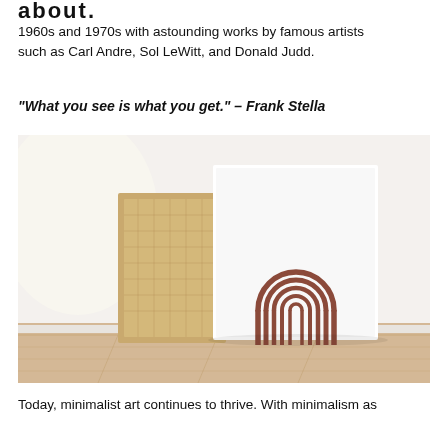about.
1960s and 1970s with astounding works by famous artists such as Carl Andre, Sol LeWitt, and Donald Judd.
“What you see is what you get.” – Frank Stella
[Figure (photo): A minimalist room scene with a wooden-framed canvas leaning against a white wall next to a white framed print featuring a terracotta-colored arch/rainbow motif, on a light wood floor.]
Today, minimalist art continues to thrive. With minimalism as